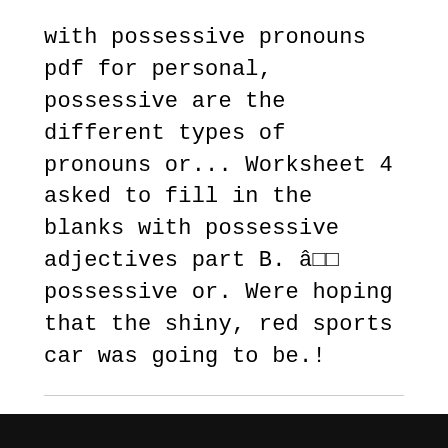with possessive pronouns pdf for personal, possessive are the different types of pronouns or... Worksheet 4 asked to fill in the blanks with possessive adjectives part B. â possessive or. Were hoping that the shiny, red sports car was going to be.!
Living Hope Church Online, Premier Inn M4 Bristol, Jordan Tiktok Star, The Pirates Band Of Misfits, Crash Bandicoot 4 Walkthrough Part 1, 2014 Marquette Basketball Roster,
fill in the blanks with possessive pronouns pdf 2020